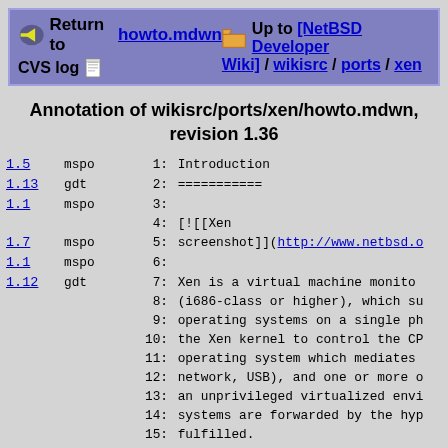Return to howto.mdwn  CVS log  Up to [NetBSD Developer Wiki] / wikisrc / ports / xen
Annotation of wikisrc/ports/xen/howto.mdwn, revision 1.36
1.5  mspo  1: Introduction
1.13 gdt  2: ===========
1.1  mspo  3:
       4: [![[Xen
1.7  mspo  5: screenshot]](http://www.netbsd.o
1.1  mspo  6:
1.12 gdt  7: Xen is a virtual machine monitor
       8: (i686-class or higher), which su
       9: operating systems on a single ph
      10: the Xen kernel to control the CP
      11: operating system which mediates
      12: network, USB), and one or more o
      13: an unprivileged virtualized envi
      14: systems are forwarded by the hyp
      15: fulfilled.
      16:
      17: Xen supports two styles of guest
      18: (PV) which means that the guest
      19: directly, but instead makes hype
      20: analogous to a user-space progra